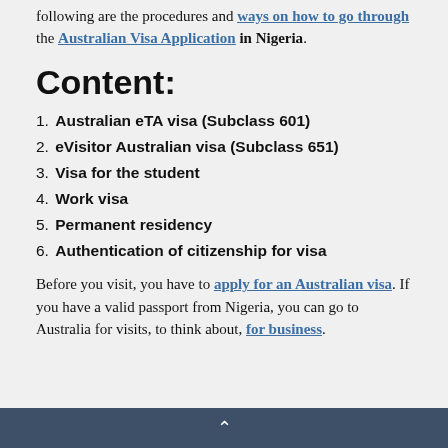following are the procedures and ways on how to go through the Australian Visa Application in Nigeria.
Content:
1. Australian eTA visa (Subclass 601)
2. eVisitor Australian visa (Subclass 651)
3. Visa for the student
4. Work visa
5. Permanent residency
6. Authentication of citizenship for visa
Before you visit, you have to apply for an Australian visa. If you have a valid passport from Nigeria, you can go to Australia for visits, to think about, for business.
^